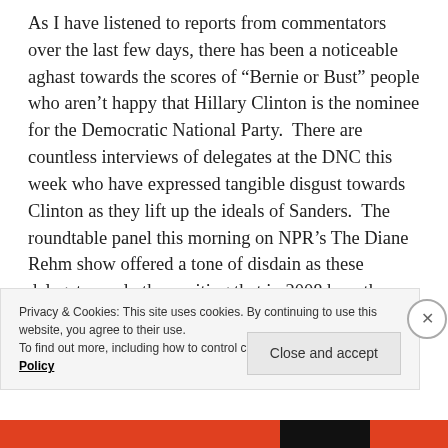As I have listened to reports from commentators over the last few days, there has been a noticeable aghast towards the scores of “Bernie or Bust” people who aren’t happy that Hillary Clinton is the nominee for the Democratic National Party.  There are countless interviews of delegates at the DNC this week who have expressed tangible disgust towards Clinton as they lift up the ideals of Sanders.  The roundtable panel this morning on NPR’s The Diane Rehm show offered a tone of disdain as these delegates and others, citing that in 2008 how the party quickly unified around Barack Obama.  What
Privacy & Cookies: This site uses cookies. By continuing to use this website, you agree to their use.
To find out more, including how to control cookies, see here: Cookie Policy
Close and accept